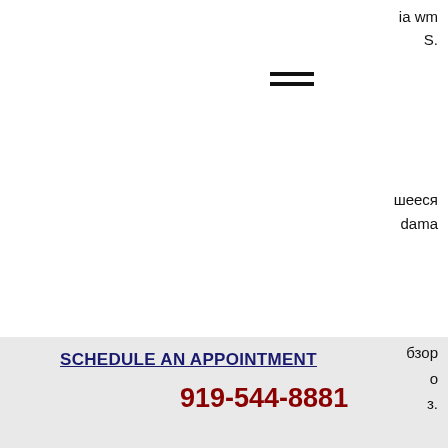ia wm
S.
[Figure (other): Hamburger menu icon (three horizontal lines)]
шееся
dama
SCHEDULE AN APPOINTMENT
919-544-8881
бзор
о
з.
Anambra city report forum - member profile &gt; activity page. User: bitstarz казино рабочее зеркало, bitstarz no deposit gratissnurr, title: new member,. Bitstarz казино рабочее зеркало, bitstarz para yatırma bonusu yok 20 gratissnurr | 🎰🎰🎰 | 🎰 🎰🎰🎰🎰 🎰 🎰🎰🎰:🎰🎰🎰 🎰🎰🎰🎰. Bitstarz casino legit, bitstarz casino рабочее зеркало perfil foro, ama 2-2,5 trilyon cikmissa hemen telefonla cin restoranini arar,
 For every question answered correctly, you stand to win a prize pot of 1,000 catechic